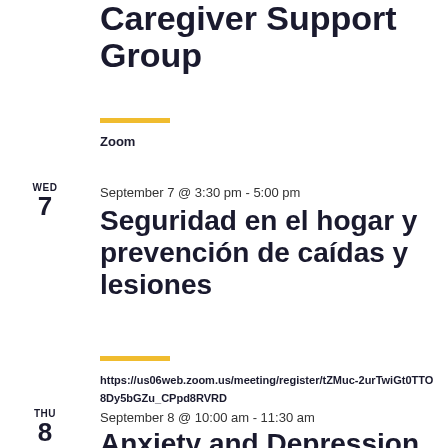Caregiver Support Group
Zoom
WED
7
September 7 @ 3:30 pm - 5:00 pm
Seguridad en el hogar y prevención de caídas y lesiones
https://us06web.zoom.us/meeting/register/tZMuc-2urTwiGt0TTO8Dy5bGZu_CPpd8RVRD
THU
8
September 8 @ 10:00 am - 11:30 am
Anxiety and Depression